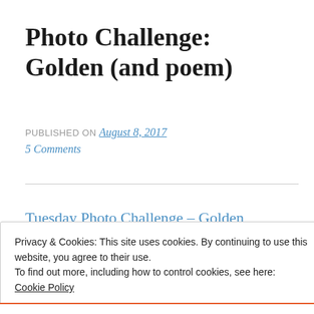Photo Challenge: Golden (and poem)
PUBLISHED ON August 8, 2017
5 Comments
Tuesday Photo Challenge – Golden
Privacy & Cookies: This site uses cookies. By continuing to use this website, you agree to their use.
To find out more, including how to control cookies, see here:
Cookie Policy
Close and accept